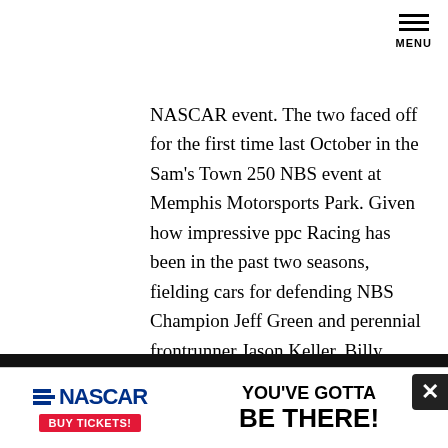[Figure (other): Hamburger menu icon with three horizontal bars and MENU label]
NASCAR event. The two faced off for the first time last October in the Sam's Town 250 NBS event at Memphis Motorsports Park. Given how impressive ppc Racing has been in the past two seasons, fielding cars for defending NBS Champion Jeff Green and perennial frontrunner Jason Keller, Billy could certainly be a contender in Sunday's event. Assisting the young driver will be Ronnie Silvers from Michael Waltrip Racing, along with several members of the #10 and #57 teams. Pit road duties will be handled by the pit crew from the #2 Ultra Motorsports Craftsman Truck team of Scott Riggs. Carrying nearly identical paint
[Figure (other): NASCAR advertisement banner: NASCAR logo with Buy Tickets button on left, 'YOU'VE GOTTA BE THERE!' text on right]